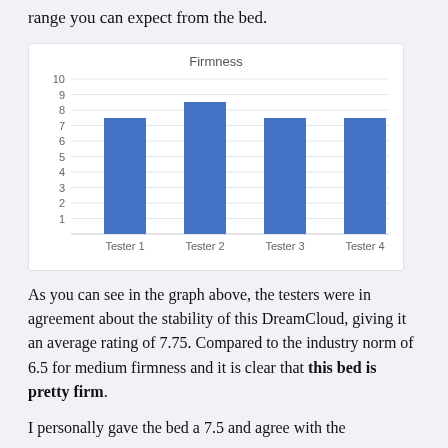range you can expect from the bed.
[Figure (bar-chart): Firmness]
As you can see in the graph above, the testers were in agreement about the stability of this DreamCloud, giving it an average rating of 7.75. Compared to the industry norm of 6.5 for medium firmness and it is clear that this bed is pretty firm.
I personally gave the bed a 7.5 and agree with the